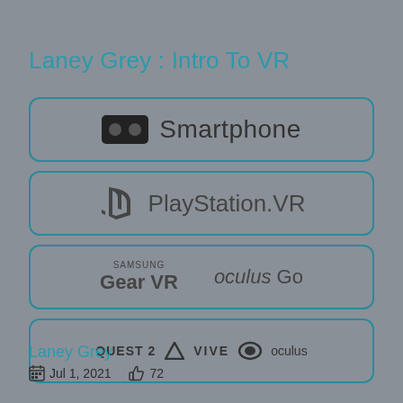Laney Grey : Intro To VR
Smartphone
PlayStation.VR
SAMSUNG Gear VR   oculus Go
QUEST 2  VIVE  oculus
Laney Grey
Jul 1, 2021   72